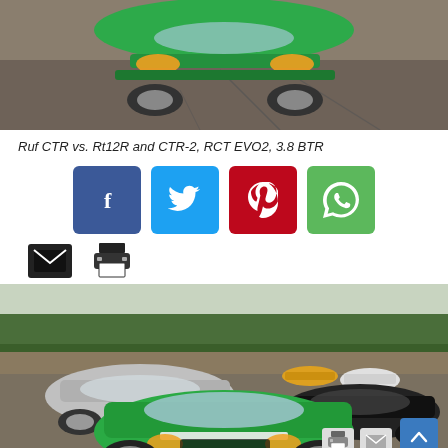[Figure (photo): Top portion of a green Ruf sports car on a tarmac surface with cracks, shot from above/front angle]
Ruf CTR vs. Rt12R and CTR-2, RCT EVO2, 3.8 BTR
[Figure (infographic): Social media share buttons: Facebook (blue), Twitter (light blue), Pinterest (red), WhatsApp (green)]
[Figure (infographic): Email and print icon buttons]
[Figure (photo): Group photo of multiple Ruf sports cars on a runway/tarmac: silver Ruf in foreground left, green Ruf CTR in center foreground, black Ruf on right, and two more in the background. Trees visible in background.]